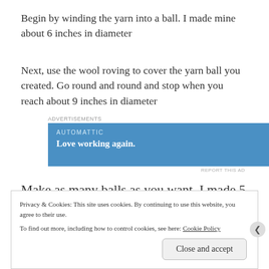Begin by winding the yarn into a ball. I made mine about 6 inches in diameter
Next, use the wool roving to cover the yarn ball you created. Go round and round and stop when you reach about 9 inches in diameter
[Figure (other): Advertisement banner for Automattic. Blue background with company name 'AUTOMATTIC' and tagline 'Love working again.']
Make as many balls as you want. I made 5
Privacy & Cookies: This site uses cookies. By continuing to use this website, you agree to their use.
To find out more, including how to control cookies, see here: Cookie Policy